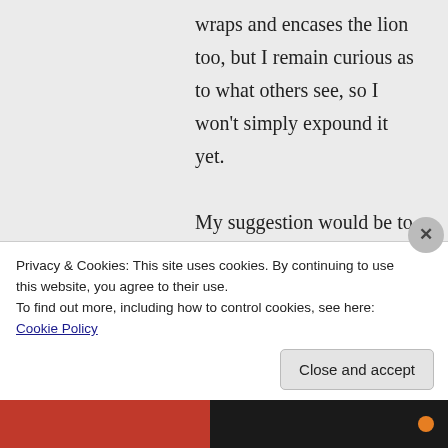wraps and encases the lion too, but I remain curious as to what others see, so I won't simply expound it yet.

My suggestion would be to go back and read the devil's two solutions, and
Privacy & Cookies: This site uses cookies. By continuing to use this website, you agree to their use.
To find out more, including how to control cookies, see here: Cookie Policy
Close and accept